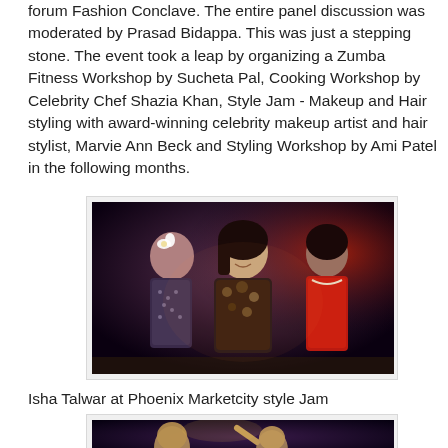forum Fashion Conclave. The entire panel discussion was moderated by Prasad Bidappa. This was just a stepping stone. The event took a leap by organizing a Zumba Fitness Workshop by Sucheta Pal, Cooking Workshop by Celebrity Chef Shazia Khan, Style Jam - Makeup and Hair styling with award-winning celebrity makeup artist and hair stylist, Marvie Ann Beck and Styling Workshop by Ami Patel in the following months.
[Figure (photo): Three women standing on stage; center woman wears a floral strapless dress and smiles; left woman has a white flower in her hair and wears a patterned outfit; right woman wears a red dress.]
Isha Talwar at Phoenix Marketcity style Jam
[Figure (photo): Partial view of performers on a darkly lit stage.]